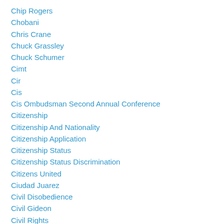Chip Rogers
Chobani
Chris Crane
Chuck Grassley
Chuck Schumer
Cimt
Cir
Cis
Cis Ombudsman Second Annual Conference
Citizenship
Citizenship And Nationality
Citizenship Application
Citizenship Status
Citizenship Status Discrimination
Citizens United
Ciudad Juarez
Civil Disobedience
Civil Gideon
Civil Rights
Civil Rights To All In New York